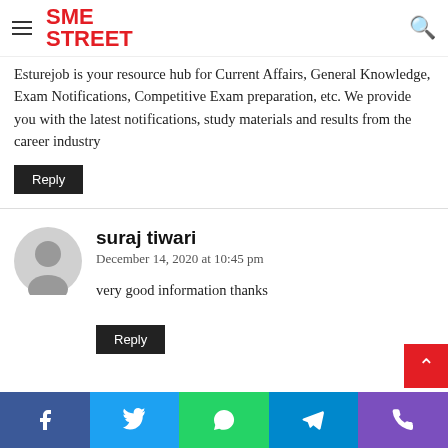SME STREET
Esturejob is your resource hub for Current Affairs, General Knowledge, Exam Notifications, Competitive Exam preparation, etc. We provide you with the latest notifications, study materials and results from the career industry
Reply
suraj tiwari
December 14, 2020 at 10:45 pm
very good information thanks
Reply